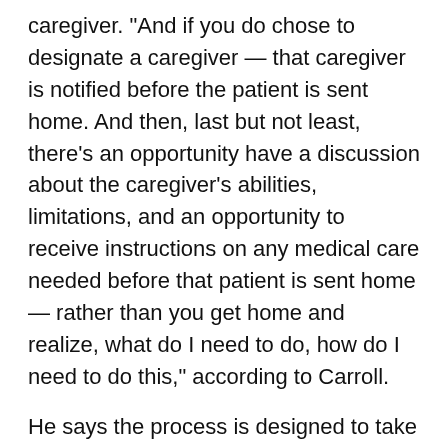caregiver. "And if you do chose to designate a caregiver — that caregiver is notified before the patient is sent home. And then, last but not least, there's an opportunity have a discussion about the caregiver's abilities, limitations, and an opportunity to receive instructions on any medical care needed before that patient is sent home — rather than you get home and realize, what do I need to do, how do I need to do this," according to Carroll.
He says the process is designed to take the surprises out of the situation for the caregiver. "Thinking from the git-go what you might need to do. Being prepared to ask questions, and then hopefully alleviating the stress that comes with that situation, being thrust in that role perhaps unanticipated after the fact," Carroll